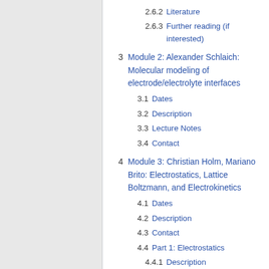2.6.2 Literature
2.6.3 Further reading (if interested)
3 Module 2: Alexander Schlaich: Molecular modeling of electrode/electrolyte interfaces
3.1 Dates
3.2 Description
3.3 Lecture Notes
3.4 Contact
4 Module 3: Christian Holm, Mariano Brito: Electrostatics, Lattice Boltzmann, and Electrokinetics
4.1 Dates
4.2 Description
4.3 Contact
4.4 Part 1: Electrostatics
4.4.1 Description
4.4.2 Literature
4.5 Part 2: Electro-Osmotic Flow